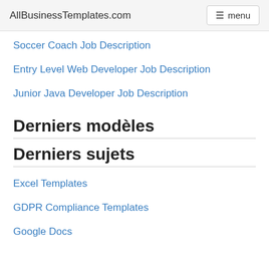AllBusinessTemplates.com  menu
Soccer Coach Job Description
Entry Level Web Developer Job Description
Junior Java Developer Job Description
Derniers modèles
Derniers sujets
Excel Templates
GDPR Compliance Templates
Google Docs